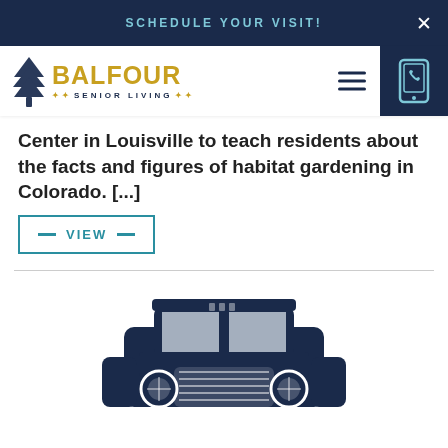SCHEDULE YOUR VISIT!
[Figure (logo): Balfour Senior Living logo with tree icon]
Center in Louisville to teach residents about the facts and figures of habitat gardening in Colorado. [...]
VIEW
[Figure (illustration): Navy blue front-view illustration of a vintage jeep/off-road vehicle]